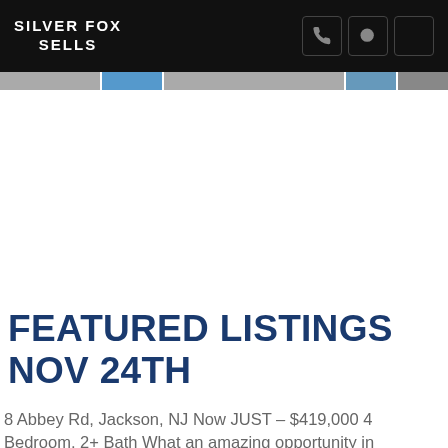SILVER FOX SELLS
[Figure (photo): Navigation bar with phone, search, and menu icons on dark background]
[Figure (photo): Image strip showing property listing photos partially visible]
FEATURED LISTINGS NOV 24TH
8 Abbey Rd, Jackson, NJ Now JUST – $419,000 4 Bedroom, 2+ Bath What an amazing opportunity in